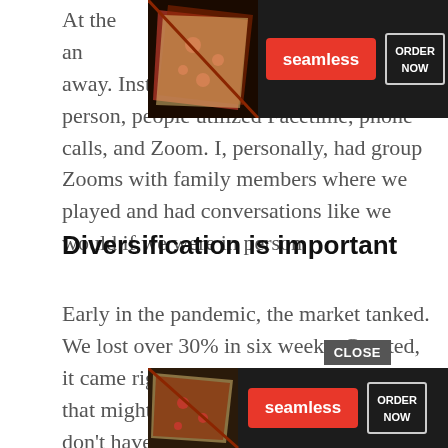At the [ad] dn't go an [ad] ame in right away. Instead of getting together in person, people utilized Facetime, phone calls, and Zoom. I, personally, had group Zooms with family members where we played and had conversations like we would if we were in person.
[Figure (screenshot): Seamless food delivery advertisement banner (top) showing pizza slices, Seamless logo in red, and ORDER NOW button on dark background]
Diversification is important
Early in the pandemic, the market tanked. We lost over 30% in six weeks. Granted, it came right back up not long after, but that might not always be the case. If you don't have time to ride out the ebbs and flows of the market, it's important you get your asset allocation right. Talk with your adviser to m[CLOSE]re your [ad] risk tolera[ad]
[Figure (screenshot): Seamless food delivery advertisement banner (bottom) showing pizza slices, Seamless logo in red, and ORDER NOW button on dark background. CLOSE button overlay visible.]